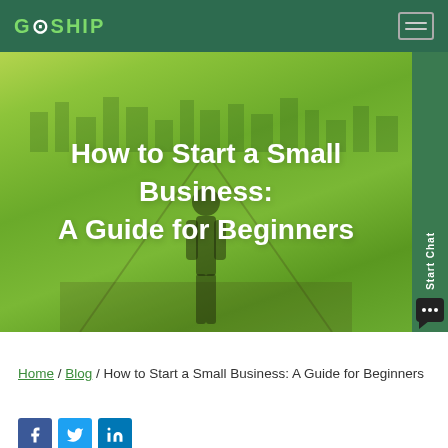GoShip
[Figure (photo): Green-tinted hero image of a person (silhouette) walking down a road toward a city skyline, with the article title overlaid in white text]
How to Start a Small Business: A Guide for Beginners
Home / Blog / How to Start a Small Business: A Guide for Beginners
[Figure (other): Social sharing icons: Facebook (blue), Twitter (light blue), LinkedIn (dark blue)]